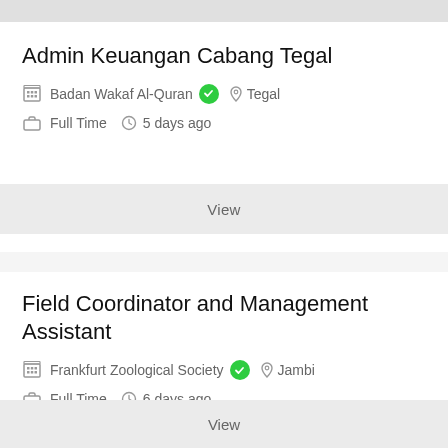Admin Keuangan Cabang Tegal
Badan Wakaf Al-Quran ✓   Tegal
Full Time   5 days ago
View
Field Coordinator and Management Assistant
Frankfurt Zoological Society ✓   Jambi
Full Time   6 days ago
View